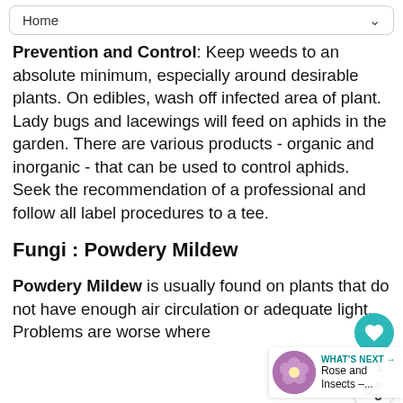Home
Prevention and Control: Keep weeds to an absolute minimum, especially around desirable plants. On edibles, wash off infected area of plant. Lady bugs and lacewings will feed on aphids in the garden. There are various products - organic and inorganic - that can be used to control aphids. Seek the recommendation of a professional and follow all label procedures to a tee.
Fungi : Powdery Mildew
Powdery Mildew is usually found on plants that do not have enough air circulation or adequate light. Problems are worse where